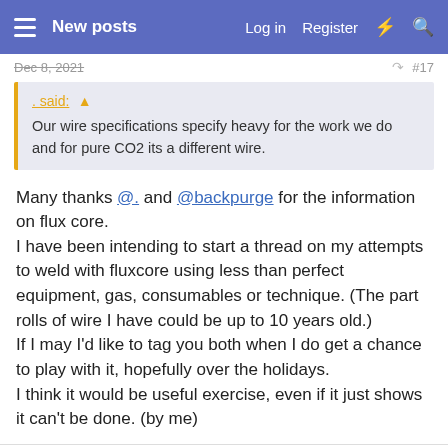New posts  Log in  Register
Dec 8, 2021  #17
. said: Our wire specifications specify heavy for the work we do and for pure CO2 its a different wire.
Many thanks @. and @backpurge for the information on flux core.
I have been intending to start a thread on my attempts to weld with fluxcore using less than perfect equipment, gas, consumables or technique. (The part rolls of wire I have could be up to 10 years old.)
If I may I'd like to tag you both when I do get a chance to play with it, hopefully over the holidays.
I think it would be useful exercise, even if it just shows it can't be done. (by me)
backpurge
Member